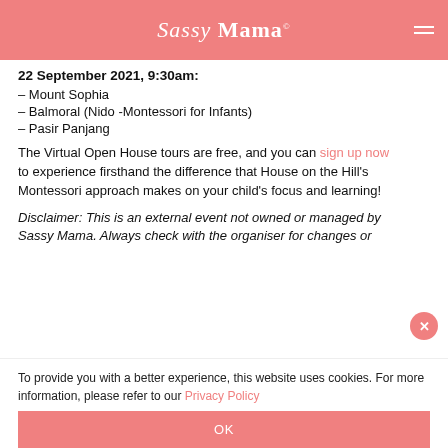Sassy Mama
22 September 2021, 9:30am:
– Mount Sophia
– Balmoral (Nido -Montessori for Infants)
– Pasir Panjang
The Virtual Open House tours are free, and you can sign up now to experience firsthand the difference that House on the Hill's Montessori approach makes on your child's focus and learning!
Disclaimer: This is an external event not owned or managed by Sassy Mama. Always check with the organiser for changes or
To provide you with a better experience, this website uses cookies. For more information, please refer to our Privacy Policy
OK